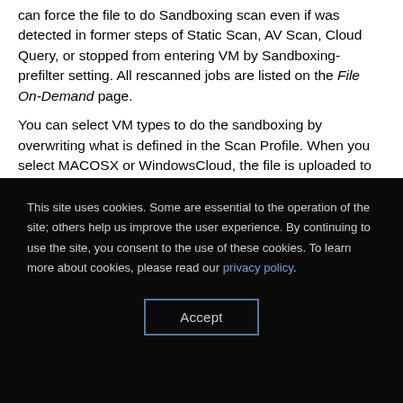can force the file to do Sandboxing scan even if was detected in former steps of Static Scan, AV Scan, Cloud Query, or stopped from entering VM by Sandboxing-prefilter setting. All rescanned jobs are listed on the File On-Demand page.
You can select VM types to do the sandboxing by overwriting what is defined in the Scan Profile. When you select MACOSX or WindowsCloud, the file is uploaded to the cloud to be scanned. For password protected archive files or Microsoft Office files, write down all possible passwords. The default
This site uses cookies. Some are essential to the operation of the site; others help us improve the user experience. By continuing to use the site, you consent to the use of these cookies. To learn more about cookies, please read our privacy policy.